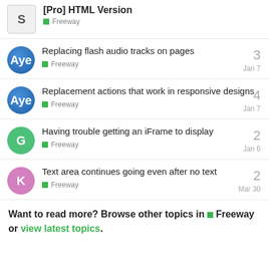[Pro] HTML Version — Freeway
Replacing flash audio tracks on pages — Freeway — 3 replies — Jan 7
Replacement actions that work in responsive designs — Freeway — 4 replies — Jan 7
Having trouble getting an iFrame to display — Freeway — 2 replies — Jan 6
Text area continues going even after no text — Freeway — 2 replies — Mar 30
Want to read more? Browse other topics in Freeway or view latest topics.